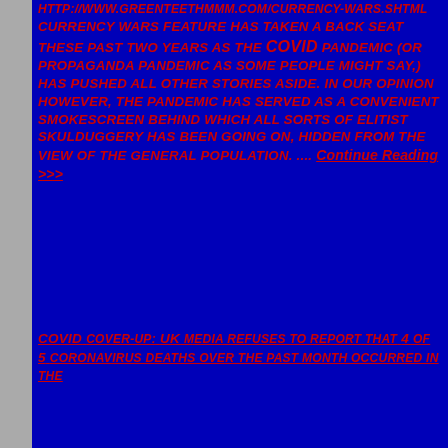HTTP://WWW.GREENTEETHMMM.COM/CURRENCY-WARS.SHTML CURRENCY WARS FEATURE HAS TAKEN A BACK SEAT THESE PAST TWO YEARS AS THE COVID PANDEMIC (OR PROPAGANDA PANDEMIC AS SOME PEOPLE MIGHT SAY,) HAS PUSHED ALL OTHER STORIES ASIDE. IN OUR OPINION HOWEVER, THE PANDEMIC HAS SERVED AS A CONVENIENT SMOKESCREEN BEHIND WHICH ALL SORTS OF ELITIST SKULDUGGERY HAS BEEN GOING ON, HIDDEN FROM THE VIEW OF THE GENERAL POPULATION. ... Continue reading >>>
COVID COVER-UP: UK MEDIA REFUSES TO REPORT THAT 4 OF 5 CORONAVIRUS DEATHS OVER THE PAST MONTH OCCURRED IN THE